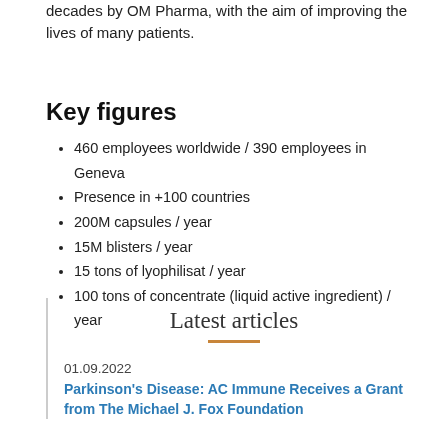decades by OM Pharma, with the aim of improving the lives of many patients.
Key figures
460 employees worldwide / 390 employees in Geneva
Presence in +100 countries
200M capsules / year
15M blisters / year
15 tons of lyophilisat / year
100 tons of concentrate (liquid active ingredient) / year
Latest articles
01.09.2022
Parkinson's Disease: AC Immune Receives a Grant from The Michael J. Fox Foundation